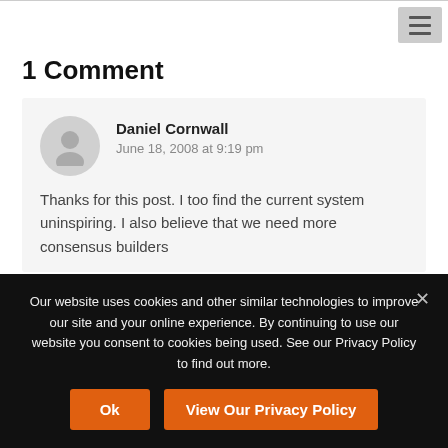1 Comment
Daniel Cornwall
June 18, 2008 at 9:19 pm

Thanks for this post. I too find the current system uninspiring. I also believe that we need more consensus builders
Our website uses cookies and other similar technologies to improve our site and your online experience. By continuing to use our website you consent to cookies being used. See our Privacy Policy to find out more.